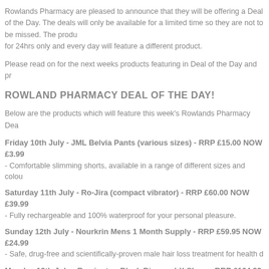Rowlands Pharmacy are pleased to announce that they will be offering a Deal of the Day. The deals will only be available for a limited time so they are not to be missed. The products will be available for 24hrs only and every day will feature a different product.
Please read on for the next weeks products featuring in Deal of the Day and pr...
ROWLAND PHARMACY DEAL OF THE DAY!
Below are the products which will feature this week's Rowlands Pharmacy Dea...
Friday 10th July - JML Belvia Pants (various sizes) - RRP £15.00 NOW £3.99 - Comfortable slimming shorts, available in a range of different sizes and colou...
Saturday 11th July - Ro-Jira (compact vibrator) - RRP £60.00 NOW £39.99 - Fully rechargeable and 100% waterproof for your personal pleasure.
Sunday 12th July - Nourkrin Mens 1 Month Supply - RRP £59.95 NOW £24.99 - Safe, drug-free and scientifically-proven male hair loss treatment for health...
Monday 13th July - Remington Black Diamond-X Shaver RRP £164.99 NOW £... - Men's shaver designed for a super close shave with minimum irritation.
Tuesday 14th July - Celebrity Slim Variety Pack- 20 x 55g RRP £32.99- NO...